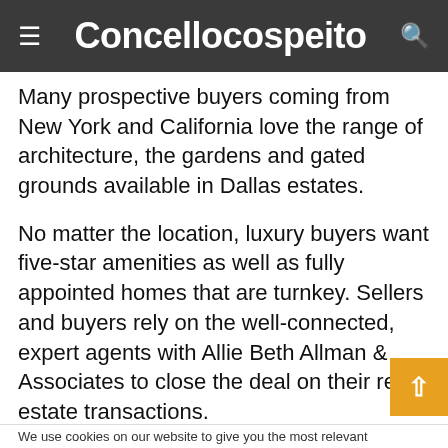Concellocospeito
Many prospective buyers coming from New York and California love the range of architecture, the gardens and gated grounds available in Dallas estates.
No matter the location, luxury buyers want five-star amenities as well as fully appointed homes that are turnkey. Sellers and buyers rely on the well-connected, expert agents with Allie Beth Allman & Associates to close the deal on their real estate transactions.
Here’s a glimpse at some Preston Hollow estates that are available through Allie Beth Allman & Associates.
We use cookies on our website to give you the most relevant